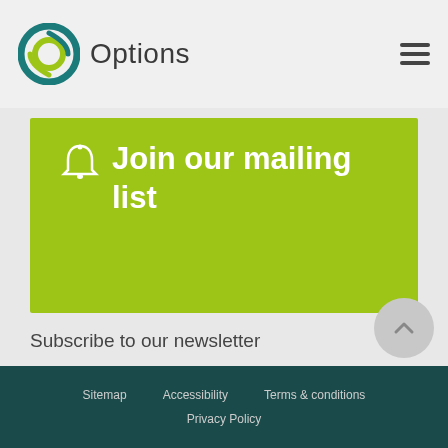Options
🔔 Join our mailing list
Subscribe to our newsletter
[Figure (infographic): LinkedIn and Twitter social icons (green squares) and a search input bar with search icon]
+44 (0)20 7430 1900   Email UK Office
Sitemap   Accessibility   Terms & conditions   Privacy Policy